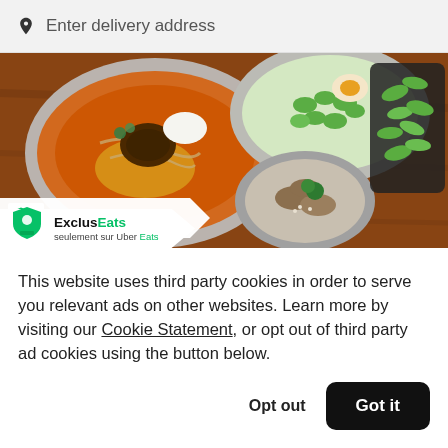Enter delivery address
[Figure (photo): Food photo showing bowls of ramen and edamame on a wooden table, with an ExclusEats banner overlay (seulement sur Uber Eats)]
Menma – Jourdan
This website uses third party cookies in order to serve you relevant ads on other websites. Learn more by visiting our Cookie Statement, or opt out of third party ad cookies using the button below.
Opt out
Got it